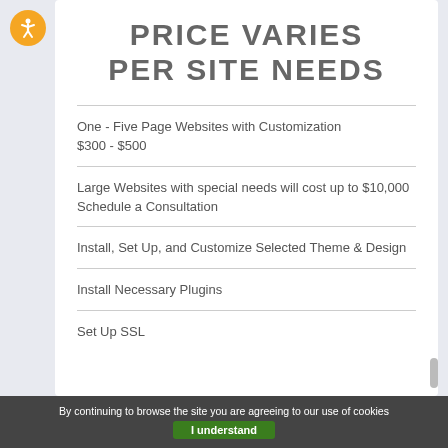PRICE VARIES PER SITE NEEDS
One - Five Page Websites with Customization $300 - $500
Large Websites with special needs will cost up to $10,000
Schedule a Consultation
Install, Set Up, and Customize Selected Theme & Design
Install Necessary Plugins
Set Up SSL
By continuing to browse the site you are agreeing to our use of cookies
I understand